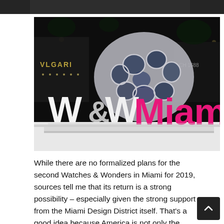[Figure (photo): Top partial strip of a dark/nighttime photo, cropped at top of page]
[Figure (photo): Nighttime photo of a W&W Miami (Watches & Wonders Miami) sign with large white and pink letters in front of a futuristic bubble-dome sculpture, with BVLGARI and other luxury brand signs visible in the background]
While there are no formalized plans for the second Watches & Wonders in Miami for 2019, sources tell me that its return is a strong possibility – especially given the strong support from the Miami Design District itself. That's a good idea because America is not only the